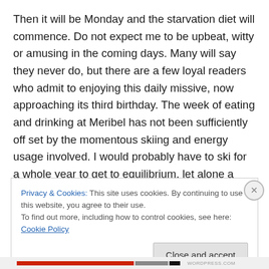Then it will be Monday and the starvation diet will commence. Do not expect me to be upbeat, witty or amusing in the coming days. Many will say they never do, but there are a few loyal readers who admit to enjoying this daily missive, now approaching its third birthday. The week of eating and drinking at Meribel has not been sufficiently off set by the momentous skiing and energy usage involved. I would probably have to ski for a whole year to get to equilibrium, let alone a honing of my magnificent anatomy, so drastic measures have been
Privacy & Cookies: This site uses cookies. By continuing to use this website, you agree to their use.
To find out more, including how to control cookies, see here: Cookie Policy